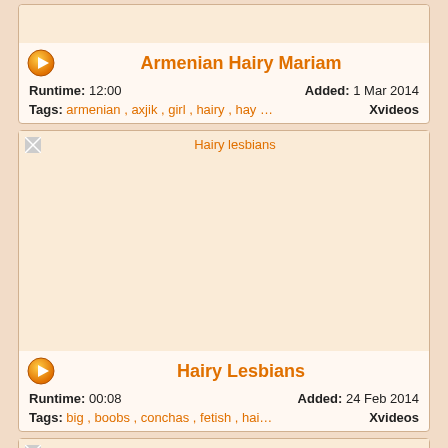[Figure (screenshot): Cropped top card showing only thumbnail stub]
Armenian Hairy Mariam
Runtime: 12:00    Added: 1 Mar 2014
Tags: armenian , axjik , girl , hairy , hay …    Xvideos
[Figure (photo): Thumbnail for Hairy lesbians - broken image placeholder with title overlay]
Hairy Lesbians
Runtime: 00:08    Added: 24 Feb 2014
Tags: big , boobs , conchas , fetish , hai…    Xvideos
[Figure (photo): Partial thumbnail for Cute Beata bananas her hairy pussy]